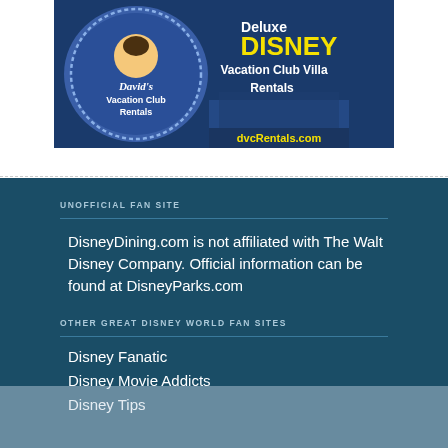[Figure (advertisement): David's Vacation Club Rentals banner ad advertising Deluxe Disney Vacation Club Villa Rentals at dvcRentals.com]
UNOFFICIAL FAN SITE
DisneyDining.com is not affiliated with The Walt Disney Company. Official information can be found at DisneyParks.com
OTHER GREAT DISNEY WORLD FAN SITES
Disney Fanatic
Disney Movie Addicts
Disney Tips